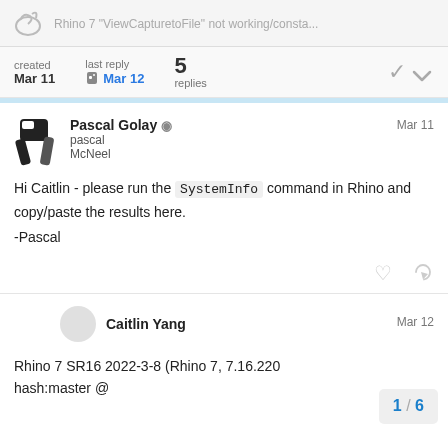Rhino 7 "ViewCapturetoFile" not working/consta...
created Mar 11 | last reply Mar 12 | 5 replies
Pascal Golay ◎ Mar 11
pascal
McNeel

Hi Caitlin - please run the SystemInfo command in Rhino and copy/paste the results here.

-Pascal
Caitlin Yang Mar 12
Rhino 7 SR16 2022-3-8 (Rhino 7, 7.16.220 hash:master @
1 / 6